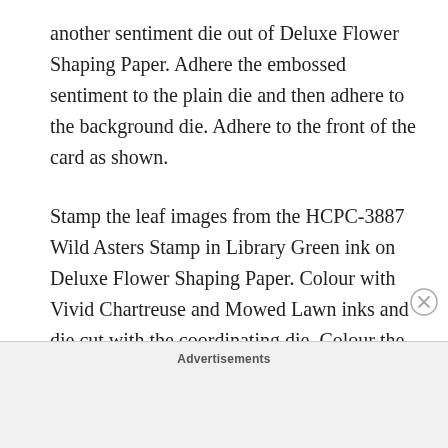another sentiment die out of Deluxe Flower Shaping Paper. Adhere the embossed sentiment to the plain die and then adhere to the background die. Adhere to the front of the card as shown.
Stamp the leaf images from the HCPC-3887 Wild Asters Stamp in Library Green ink on Deluxe Flower Shaping Paper. Colour with Vivid Chartreuse and Mowed Lawn inks and die cut with the coordinating die. Colour the edges with Lilac Posies ink and on the backs with Vivid Chartreuse ink and then shape with the Groove Golf Tools. Add Crystal Clear with gloss gel
Advertisements